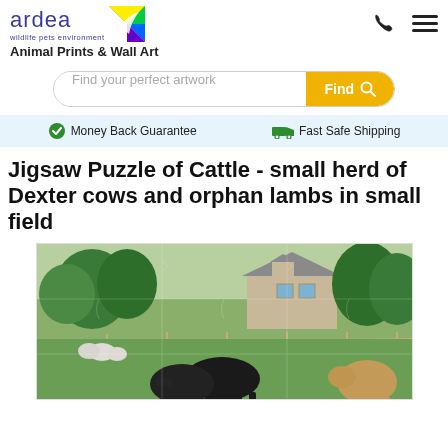[Figure (logo): Ardea wildlife pets environment logo with rainbow bird graphic]
Animal Prints & Wall Art
Find your perfect artwork
Money Back Guarantee   Fast Safe Shipping
Jigsaw Puzzle of Cattle - small herd of Dexter cows and orphan lambs in small field
[Figure (photo): Photo of small herd of black Dexter cows and sheep/lambs in a small green field with a stone house and trees in the background, shown as a jigsaw puzzle image]